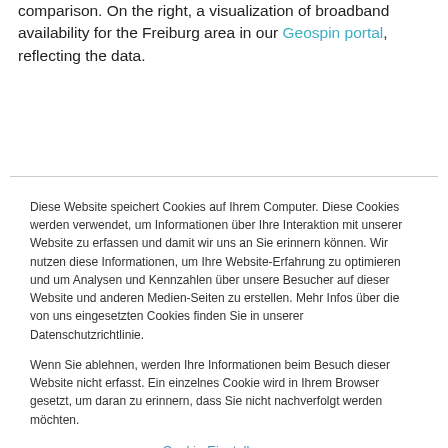comparison. On the right, a visualization of broadband availability for the Freiburg area in our Geospin portal, reflecting the data.
Diese Website speichert Cookies auf Ihrem Computer. Diese Cookies werden verwendet, um Informationen über Ihre Interaktion mit unserer Website zu erfassen und damit wir uns an Sie erinnern können. Wir nutzen diese Informationen, um Ihre Website-Erfahrung zu optimieren und um Analysen und Kennzahlen über unsere Besucher auf dieser Website und anderen Medien-Seiten zu erstellen. Mehr Infos über die von uns eingesetzten Cookies finden Sie in unserer Datenschutzrichtlinie.
Wenn Sie ablehnen, werden Ihre Informationen beim Besuch dieser Website nicht erfasst. Ein einzelnes Cookie wird in Ihrem Browser gesetzt, um daran zu erinnern, dass Sie nicht nachverfolgt werden möchten.
Cookie-Einstellungen
Alle akzeptieren
Alle ablehnen